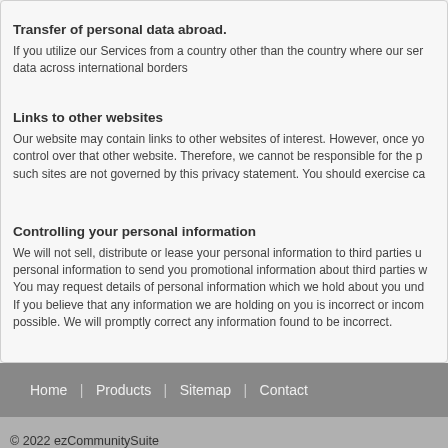Transfer of personal data abroad.
If you utilize our Services from a country other than the country where our servers are located, your communications with us may result in transferring your personal data across international borders
Links to other websites
Our website may contain links to other websites of interest. However, once you have used these links to leave our site, you should note that we do not have any control over that other website. Therefore, we cannot be responsible for the protection and privacy of any information which you provide whilst visiting such sites and such sites are not governed by this privacy statement. You should exercise caution and look at the privacy statement applicable to the website in question.
Controlling your personal information
We will not sell, distribute or lease your personal information to third parties unless we have your permission or are required by law to do so. We may use your personal information to send you promotional information about third parties which we think you may find interesting if you tell us that you wish this to happen.
You may request details of personal information which we hold about you under the Data Protection Act 1998. A small fee will be payable. If you would like a copy of the information held on you please write to us.
If you believe that any information we are holding on you is incorrect or incomplete, please write to or email us as soon as possible. We will promptly correct any information found to be incorrect.
Home | Products | Sitemap | Contact
© 2022 ezCommunitySuite